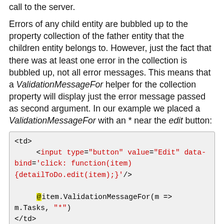call to the server.
Errors of any child entity are bubbled up to the property collection of the father entity that the children entity belongs to. However, just the fact that there was at least one error in the collection is bubbled up, not all error messages. This means that a ValidationMessageFor helper for the collection property will display just the error message passed as second argument. In our example we placed a ValidationMessageFor with an * near the edit button:
<td>
    <input type="button" value="Edit" data-bind='click: function(item) {detailToDo.edit(item);|}'/>
    @item.ValidationMessageFor(m => m.Tasks, "*")
</td>
Let see how errors work in practice. As first step let